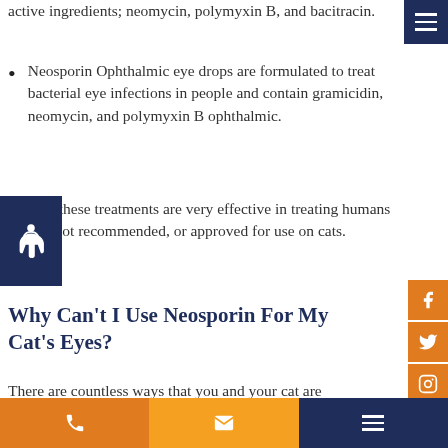active ingredients; neomycin, polymyxin B, and bacitracin.
Neosporin Ophthalmic eye drops are formulated to treat bacterial eye infections in people and contain gramicidin, neomycin, and polymyxin B ophthalmic.
Both of these treatments are very effective in treating humans but are not recommended, or approved for use on cats.
Why Can't I Use Neosporin For My Cat's Eyes?
There are countless ways that you and your cat are biologically different, including the medications that